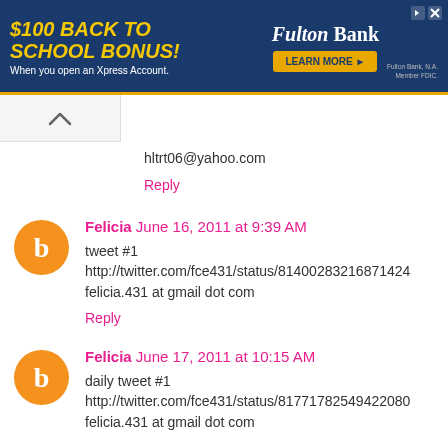[Figure (screenshot): Fulton Bank advertisement banner — '$100 BACK TO SCHOOL BONUS! When you open an Xpress Account.' with Fulton Bank logo and LEARN MORE button on dark blue background.]
hltrt06@yahoo.com
Reply
Felicia  June 16, 2011 at 9:39 AM
tweet #1
http://twitter.com/fce431/status/81400283216871424
felicia.431 at gmail dot com
Reply
Felicia  June 17, 2011 at 10:15 AM
daily tweet #1
http://twitter.com/fce431/status/81771782549422080
felicia.431 at gmail dot com